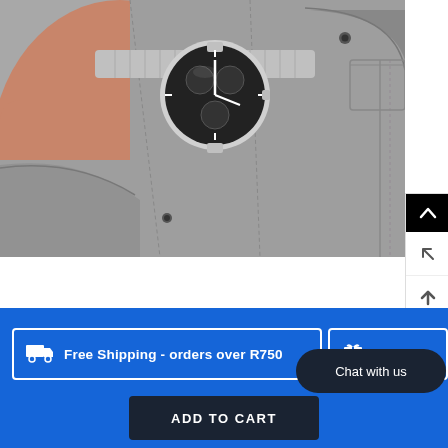[Figure (photo): Close-up photo of a man's wrist wearing a silver chronograph watch with a dark dial, hand inserted into the pocket of grey jeans with white shirt cuff visible]
Free Shipping - orders over R750
Disc
Chat with us
ADD TO CART